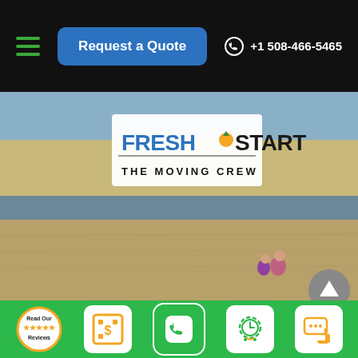Request a Quote  +1 508-466-5465
[Figure (screenshot): Fresh Start The Moving Crew logo overlaid on a beach/waterfront scene with people sitting on sand]
CONTACT INFO
70 James Street #221C, Worcester MA 01603
[Figure (infographic): Bottom toolbar with 5 icons: Read Our Reviews badge, Request a Quote dollar icon, phone icon, schedule/clock icon, and chat/SMS icon]